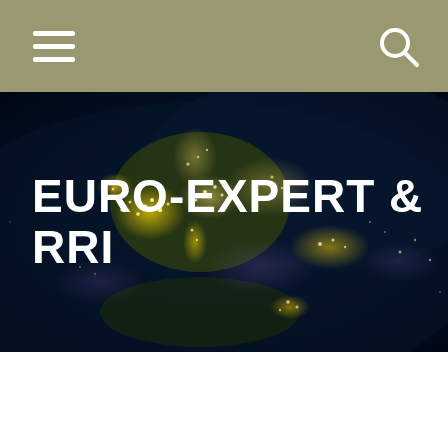navigation bar with hamburger menu and search icon
[Figure (photo): Satellite night view of Europe and surrounding regions showing city lights on a dark blue background, used as hero banner image]
EURO-EXPERT & RRI